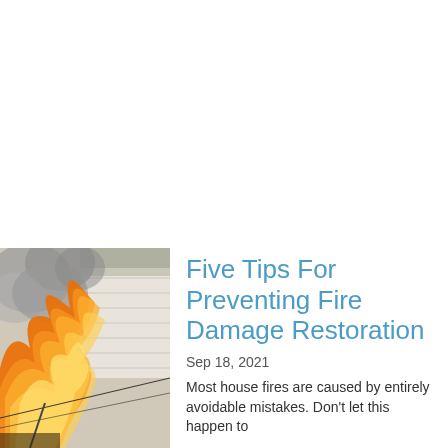[Figure (photo): A house on fire with large orange flames and smoke billowing from the structure; power lines visible in the foreground.]
Five Tips For Preventing Fire Damage Restoration
Sep 18, 2021
Most house fires are caused by entirely avoidable mistakes. Don't let this happen to